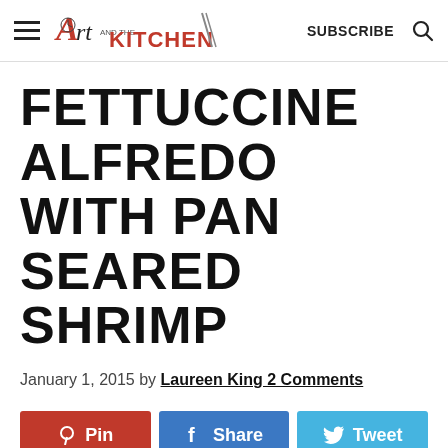Art and the Kitchen — SUBSCRIBE [search icon]
FETTUCCINE ALFREDO WITH PAN SEARED SHRIMP
January 1, 2015 by Laureen King 2 Comments
Pin  Share  Tweet